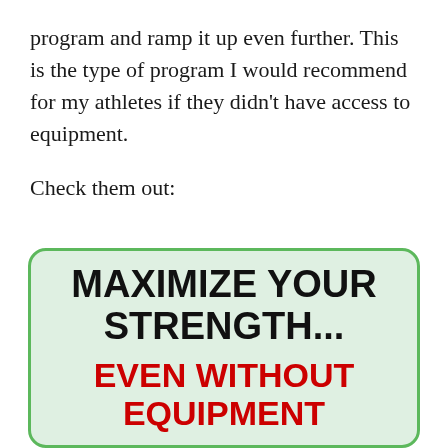program and ramp it up even further. This is the type of program I would recommend for my athletes if they didn't have access to equipment.
Check them out:
[Figure (infographic): Promotional box with light green background and green border. Text reads: MAXIMIZE YOUR STRENGTH... in large black bold text, followed by EVEN WITHOUT EQUIPMENT in large dark red bold text.]